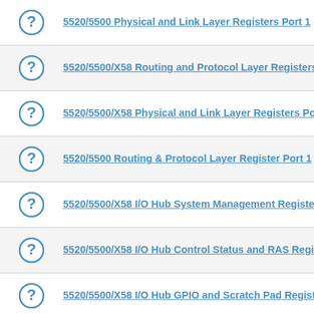5520/5500 Physical and Link Layer Registers Port 1 (wiki)
5520/5500/X58 Routing and Protocol Layer Registers Port 0 (wiki)
5520/5500/X58 Physical and Link Layer Registers Port 0 (wiki)
5520/5500 Routing & Protocol Layer Register Port 1 (wiki)
5520/5500/X58 I/O Hub System Management Registers (wiki)
5520/5500/X58 I/O Hub Control Status and RAS Registers (wiki)
5520/5500/X58 I/O Hub GPIO and Scratch Pad Registers (wiki)
5520/5500/X58 I/O Hub I/OxAPIC Interrupt Controller (wiki)
5520/5500/X58 Trusted Execution Technology Registers (wiki)
GA-EP45-DS5 Motherboard Winbond (wiki)
Xeon 5500/Core i7 Integrated Memory Controller Channel 0 Rank...
Xeon 5500/Core i7 Integrated Memory Controller Channel 1 Ther...
Xeon 5500/Core i7 Integrated Memory Controller Channel 1 Addre...
Xeon 5500/Core i7 Integrated Memory Controller Channel 0 Contr...
Xeon 5500/Core i7 Integrated Memory Controller Channel 0 The...